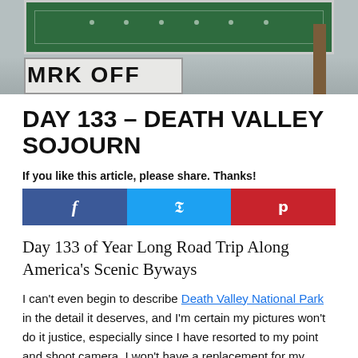[Figure (photo): Partial view of a green road sign and white sign below it, with a wooden post visible on the right side. Desert/road background visible.]
DAY 133 – DEATH VALLEY SOJOURN
If you like this article, please share. Thanks!
[Figure (infographic): Social sharing buttons: Facebook (blue), Twitter (light blue), Pinterest (red)]
Day 133 of Year Long Road Trip Along America's Scenic Byways
I can't even begin to describe Death Valley National Park in the detail it deserves, and I'm certain my pictures won't do it justice, especially since I have resorted to my point and shoot camera. I won't have a replacement for my